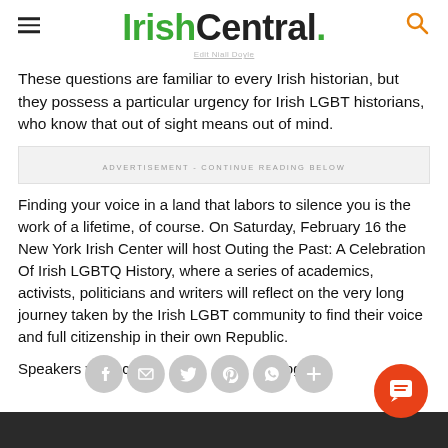IrishCentral.
These questions are familiar to every Irish historian, but they possess a particular urgency for Irish LGBT historians, who know that out of sight means out of mind.
ADVERTISEMENT - CONTINUE READING BELOW
Finding your voice in a land that labors to silence you is the work of a lifetime, of course. On Saturday, February 16 the New York Irish Center will host Outing the Past: A Celebration Of Irish LGBTQ History, where a series of academics, activists, politicians and writers will reflect on the very long journey taken by the Irish LGBT community to find their voice and full citizenship in their own Republic.
Speakers will include Bríd aeologi...